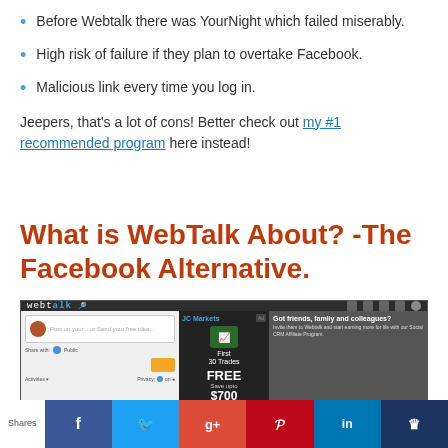Before Webtalk there was YourNight which failed miserably.
High risk of failure if they plan to overtake Facebook.
Malicious link every time you log in.
Jeepers, that's a lot of cons! Better check out my #1 recommended program here instead!
What is WebTalk About? -The Facebook Alternative.
[Figure (screenshot): Screenshot of the Webtalk social networking platform interface showing a post creation area, an advertisement for JC Markets offering 'First 30 Trades FREE, Save upto $700 START TRADING', and a panel saying 'Got friends, family and colleagues?']
Shares | Facebook | Twitter | Google+ | Pinterest | LinkedIn | (crown icon)